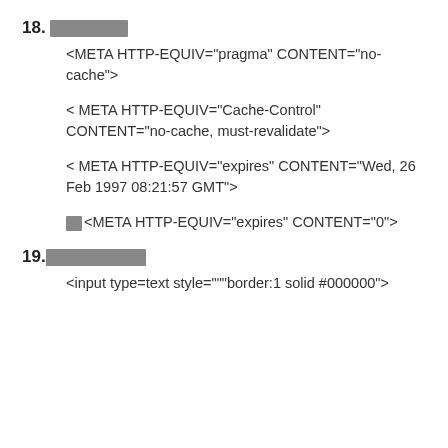18. ■■■■■■■■
<META HTTP-EQUIV="pragma" CONTENT="no-cache">
< META HTTP-EQUIV="Cache-Control" CONTENT="no-cache, must-revalidate">
< META HTTP-EQUIV="expires" CONTENT="Wed, 26 Feb 1997 08:21:57 GMT">
■■<META HTTP-EQUIV="expires" CONTENT="0">
19.■■■■■■■■■■■
<input type=text style="""border:1 solid #000000">